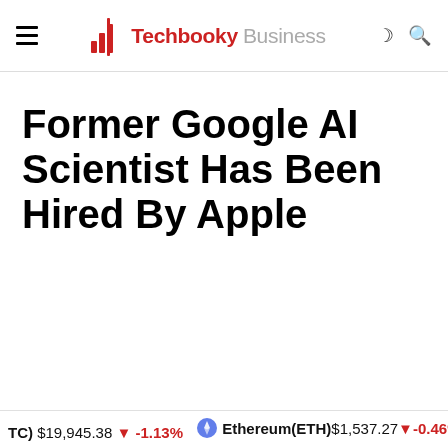Techbooky Business
Former Google AI Scientist Has Been Hired By Apple
TC) $19,945.38 ↓ -1.13%   Ethereum(ETH) $1,537.27 ↓ -0.46%